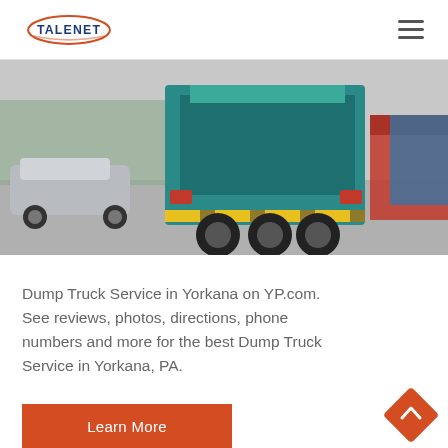TALENET
[Figure (photo): Rear view of a teal/green dump truck on a road, with cars and other vehicles visible in the background. Industrial or commercial area setting.]
Dump Truck Service in Yorkana on YP.com. See reviews, photos, directions, phone numbers and more for the best Dump Truck Service in Yorkana, PA.
Learn More